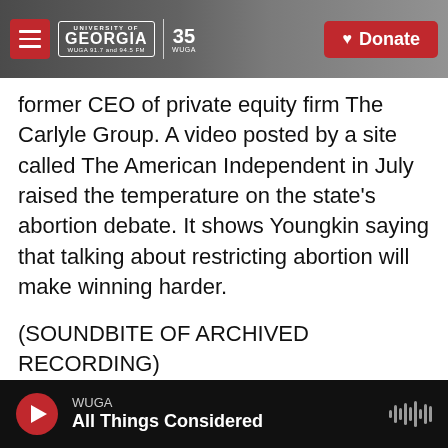University of Georgia WUGA 91.7 and 94.5 FM | 35 WUGA | Donate
former CEO of private equity firm The Carlyle Group. A video posted by a site called The American Independent in July raised the temperature on the state's abortion debate. It shows Youngkin saying that talking about restricting abortion will make winning harder.
(SOUNDBITE OF ARCHIVED RECORDING)
GLENN YOUNGKIN: When I'm governor and I have a majority in the House, we can start going on offense. But as a campaign topic, sadly, that in fact won't win my independent votes that I have to get.
WUGA — All Things Considered